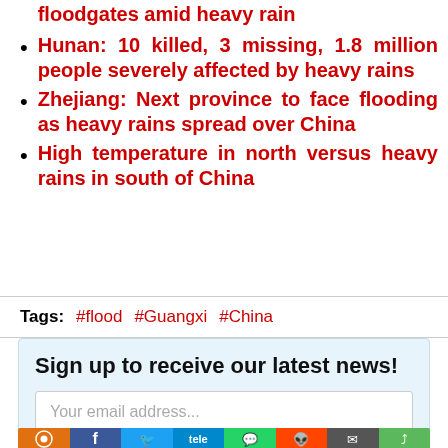floodgates amid heavy rain
Hunan: 10 killed, 3 missing, 1.8 million people severely affected by heavy rains
Zhejiang: Next province to face flooding as heavy rains spread over China
High temperature in north versus heavy rains in south of China
Tags: #flood #Guangxi #China
Sign up to receive our latest news!
Your email address...